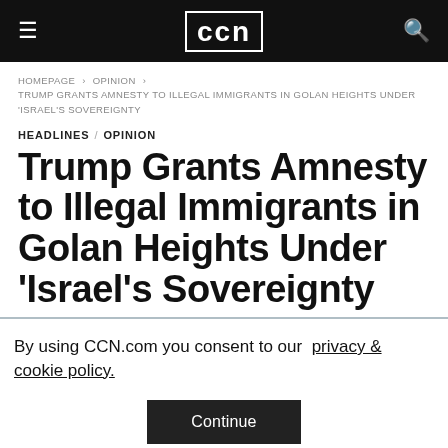CCN
HOMEPAGE › OPINION › TRUMP GRANTS AMNESTY TO ILLEGAL IMMIGRANTS IN GOLAN HEIGHTS UNDER 'ISRAEL'S SOVEREIGNTY
HEADLINES / OPINION
Trump Grants Amnesty to Illegal Immigrants in Golan Heights Under 'Israel's Sovereignty
By using CCN.com you consent to our  privacy & cookie policy.
Continue